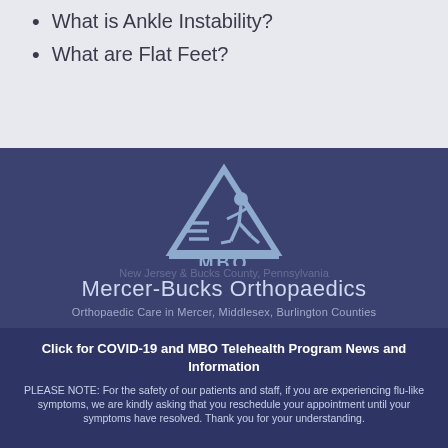What is Ankle Instability?
What are Flat Feet?
[Figure (logo): MBO logo: light blue triangle with a running figure and horizontal speed lines, with 'MBO' text below on a dark navy background]
Mercer-Bucks Orthopaedics
Orthopaedic Care in Mercer, Middlesex, Burlington Counties
Click for COVID-19 and MBO Telehealth Program News and Information
PLEASE NOTE: For the safety of our patients and staff, if you are experiencing flu-like symptoms, we are kindly asking that you reschedule your appointment until your symptoms have resolved. Thank you for your understanding.